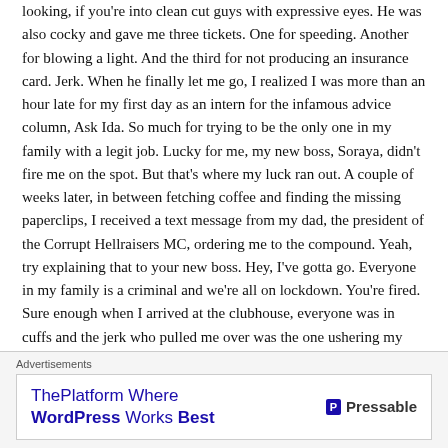looking, if you're into clean cut guys with expressive eyes. He was also cocky and gave me three tickets. One for speeding. Another for blowing a light. And the third for not producing an insurance card. Jerk. When he finally let me go, I realized I was more than an hour late for my first day as an intern for the infamous advice column, Ask Ida. So much for trying to be the only one in my family with a legit job. Lucky for me, my new boss, Soraya, didn't fire me on the spot. But that's where my luck ran out. A couple of weeks later, in between fetching coffee and finding the missing paperclips, I received a text message from my dad, the president of the Corrupt Hellraisers MC, ordering me to the compound. Yeah, try explaining that to your new boss. Hey, I've gotta go. Everyone in my family is a criminal and we're all on lockdown. You're fired. Sure enough when I arrived at the clubhouse, everyone was in cuffs and the jerk who pulled me over was the one ushering my father out of the clubhouse. They say you never
[Figure (other): Close/dismiss button (circle with X)]
Advertisements
[Figure (other): Advertisement banner: ThePlatform Where WordPress Works Best — Pressable]